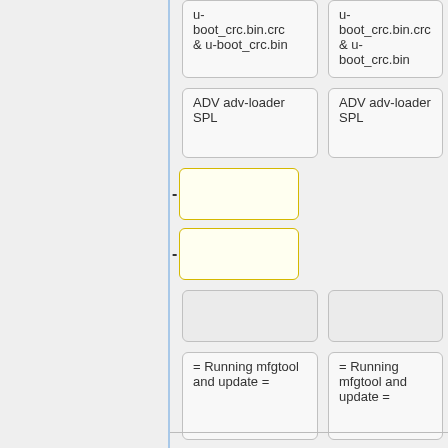[Figure (flowchart): Flowchart diagram showing two parallel columns of boxes. Top row: two boxes each containing 'u-boot_crc.bin.crc & u-boot_crc.bin'. Second row: two boxes each containing 'ADV adv-loader SPL'. Third row: two yellow-outlined empty boxes with dash connectors on left. Fourth row: two empty gray boxes. Fifth row: two boxes each containing '= Running mfgtool and update =']
Revision as of 11:41, 12 February 2019
User Guide for using mfgtool